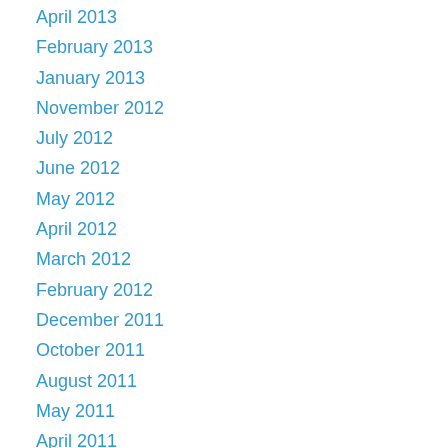April 2013
February 2013
January 2013
November 2012
July 2012
June 2012
May 2012
April 2012
March 2012
February 2012
December 2011
October 2011
August 2011
May 2011
April 2011
March 2011
February 2011
December 2010
November 2010
October 2010